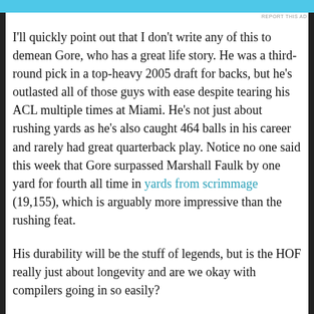[Figure (other): Cyan/teal colored advertisement banner strip at the top of the page]
REPORT THIS AD
I'll quickly point out that I don't write any of this to demean Gore, who has a great life story. He was a third-round pick in a top-heavy 2005 draft for backs, but he's outlasted all of those guys with ease despite tearing his ACL multiple times at Miami. He's not just about rushing yards as he's also caught 464 balls in his career and rarely had great quarterback play. Notice no one said this week that Gore surpassed Marshall Faulk by one yard for fourth all time in yards from scrimmage (19,155), which is arguably more impressive than the rushing feat.
His durability will be the stuff of legends, but is the HOF really just about longevity and are we okay with compilers going in so easily?